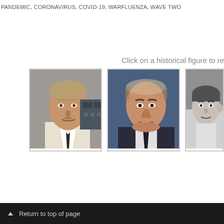PANDEMIC, CORONAVIRUS, COVID-19, WARFLUENZA, WAVE TWO
Click on a historical figure to re
[Figure (photo): Portrait photo of an older man in a white shirt and dark tie, seated in what appears to be a cockpit or control panel setting]
[Figure (photo): Portrait photo of an older man in a dark suit and tie, formal pose against a blue background]
[Figure (photo): Black and white portrait photo of a younger man, partially cropped]
▲ Return to top of page